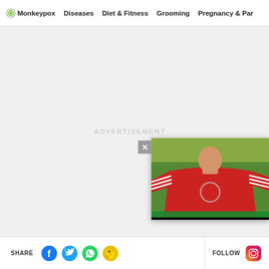Monkeypox | Diseases | Diet & Fitness | Grooming | Pregnancy & Par...
[Figure (screenshot): Gray advertisement placeholder area with ADVERTISEMENT label centered, and a floating video popup in the bottom right showing a person in a red shirt with a close button]
SHARE [Facebook] [Twitter] [WhatsApp] [ShareChat] FOLLOW [Instagram]